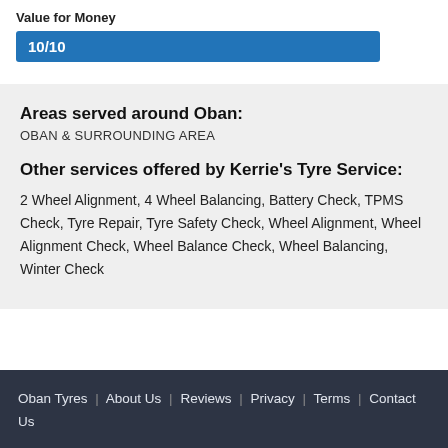Value for Money
10/10
Areas served around Oban:
OBAN & SURROUNDING AREA
Other services offered by Kerrie's Tyre Service:
2 Wheel Alignment, 4 Wheel Balancing, Battery Check, TPMS Check, Tyre Repair, Tyre Safety Check, Wheel Alignment, Wheel Alignment Check, Wheel Balance Check, Wheel Balancing, Winter Check
Oban Tyres | About Us | Reviews | Privacy | Terms | Contact Us